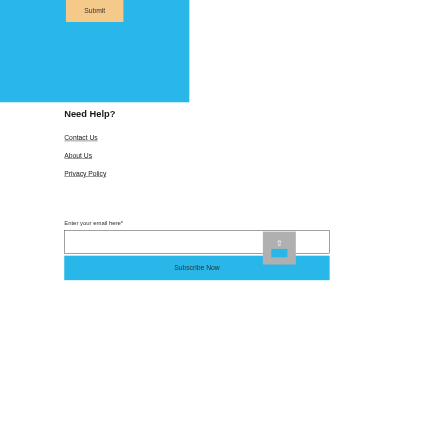[Figure (screenshot): Blue banner section with orange/tan Submit button at top center]
Need Help?
Contact Us
About Us
Privacy Policy
Enter your email here*
Subscribe Now